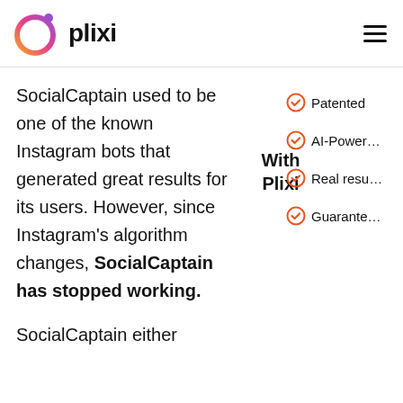[Figure (logo): Plixi logo with a circular gradient icon (pink, orange, purple) and the text 'plixi' in bold black]
SocialCaptain used to be one of the known Instagram bots that generated great results for its users. However, since Instagram's algorithm changes, SocialCaptain has stopped working.
With Plixi
Patented
AI-Powered
Real results
Guaranteed
SocialCaptain either